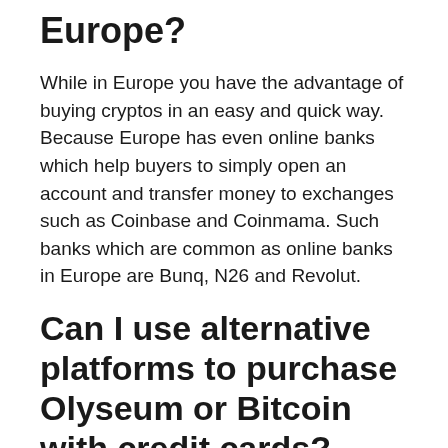Europe?
While in Europe you have the advantage of buying cryptos in an easy and quick way. Because Europe has even online banks which help buyers to simply open an account and transfer money to exchanges such as Coinbase and Coinmama. Such banks which are common as online banks in Europe are Bunq, N26 and Revolut.
Can I use alternative platforms to purchase Olyseum or Bitcoin with credit cards?
Yes you can, you just need to visit Changelly which an easy to trade in site especially when it comes to buying Bitcoin with credit